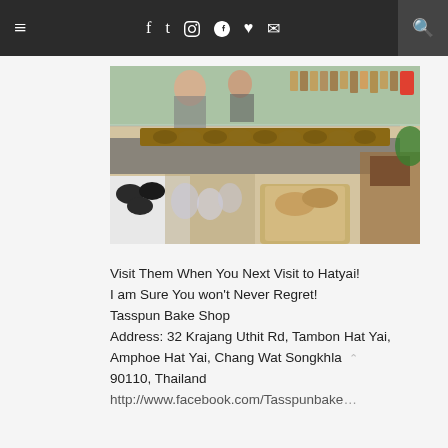≡  f  t  instagram  pinterest  ♥  mail  🔍
[Figure (photo): Interior of Tasspun Bake Shop showing a bakery counter with trays of bread, pastries, and packaged baked goods displayed for sale]
Visit Them When You Next Visit to Hatyai! I am Sure You won't Never Regret! Tasspun Bake Shop Address: 32 Krajang Uthit Rd, Tambon Hat Yai, Amphoe Hat Yai, Chang Wat Songkhla 90110, Thailand http://www.facebook.com/Tasspunbakeshop